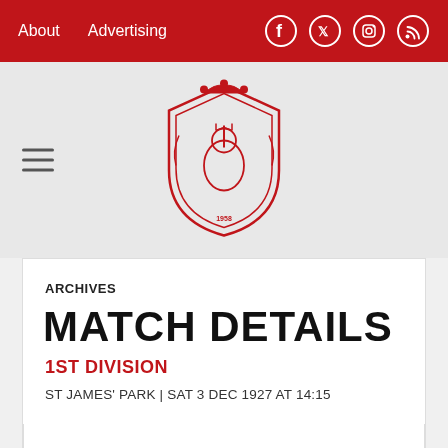About   Advertising
[Figure (logo): Manchester United style crest / badge logo in red and white, circular emblem]
ARCHIVES
MATCH DETAILS
1ST DIVISION
ST JAMES' PARK | SAT 3 DEC 1927 AT 14:15
NEWCASTLE UNITED   1